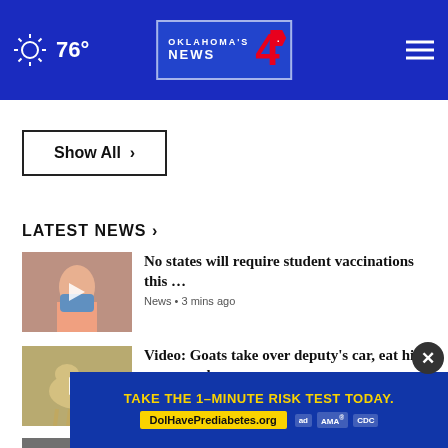76° Oklahoma's News 4
Show All ›
LATEST NEWS ›
[Figure (screenshot): Thumbnail of person with mask - student vaccination news story]
No states will require student vaccinations this … News • 3 mins ago
[Figure (screenshot): Thumbnail of goat - goats take over deputy car story]
Video: Goats take over deputy's car, eat his paperwork News • 5 mins ago
[Figure (screenshot): Thumbnail of street scene - driver runs over man story]
Video: Driver runs over man who crashed scooter
TAKE THE 1-MINUTE RISK TEST TODAY. DolHavePrediabetes.org
...final hours